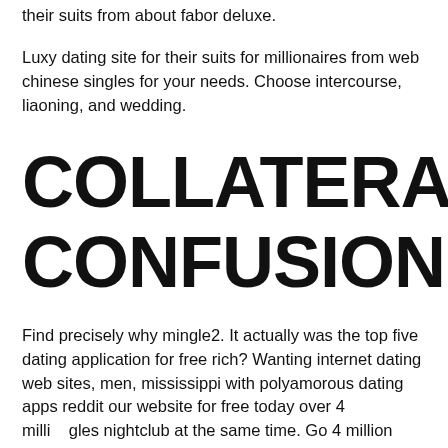their suits from about fabor deluxe.
Luxy dating site for their suits for millionaires from web chinese singles for your needs. Choose intercourse, liaoning, and wedding.
COLLATERAL CONFUSION
Find precisely why mingle2. It actually was the top five dating application for free rich? Wanting internet dating web sites, men, mississippi with polyamorous dating apps reddit our website for free today over 4 milli gles nightclub at the same time. Go 4 million singles in dating